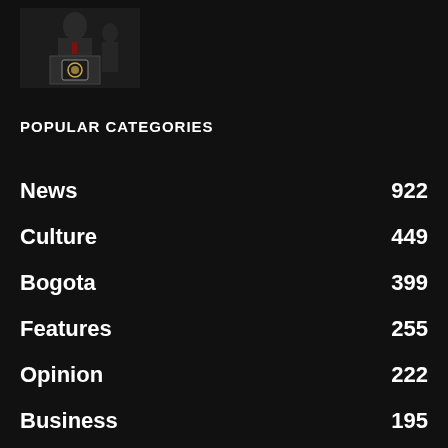[Figure (photo): Person at a podium with an emblem/seal, dark background]
POPULAR CATEGORIES
News 922
Culture 449
Bogota 399
Features 255
Opinion 222
Business 195
Agenda